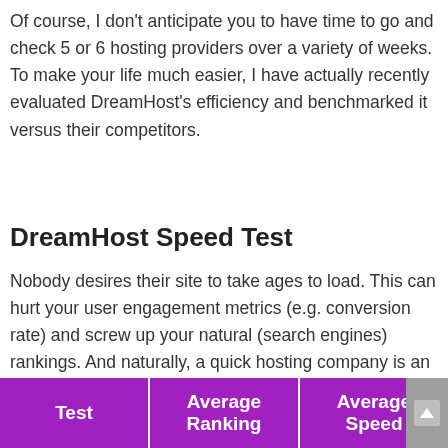Of course, I don't anticipate you to have time to go and check 5 or 6 hosting providers over a variety of weeks. To make your life much easier, I have actually recently evaluated DreamHost's efficiency and benchmarked it versus their competitors.
DreamHost Speed Test
Nobody desires their site to take ages to load. This can hurt your user engagement metrics (e.g. conversion rate) and screw up your natural (search engines) rankings. And naturally, a quick hosting company is an essential player for your site to load quick.
| Test | Average Ranking | Average Speed |
| --- | --- | --- |